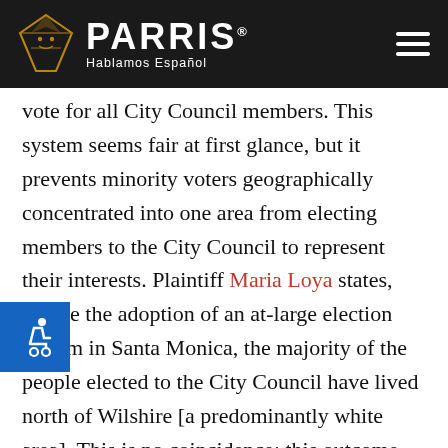PARRIS® Hablamos Español
vote for all City Council members. This system seems fair at first glance, but it prevents minority voters geographically concentrated into one area from electing members to the City Council to represent their interests. Plaintiff Maria Loya states, "Since the adoption of an at-large election system in Santa Monica, the majority of the people elected to the City Council have lived north of Wilshire [a predominantly white area]. This is no coincidence; this outcome was by design, to make it difficult for people of color to attain fair representation."